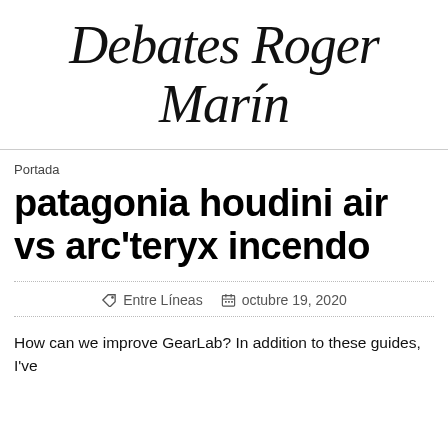Debates Roger Marín
Portada
patagonia houdini air vs arc'teryx incendo
Entre Líneas   octubre 19, 2020
How can we improve GearLab? In addition to these guides, I've